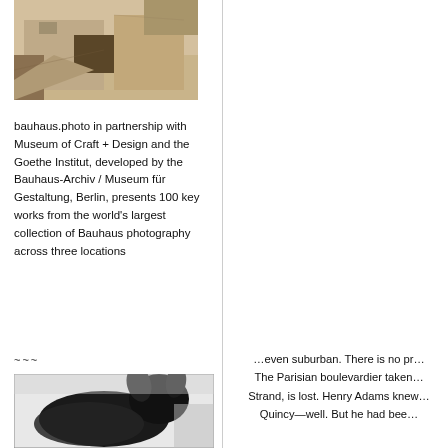[Figure (photo): Sepia-toned photograph of a building exterior with angular geometric shapes, showing a structure from below]
bauhaus.photo in partnership with Museum of Craft + Design and the Goethe Institut, developed by the Bauhaus-Archiv / Museum für Gestaltung, Berlin, presents 100 key works from the world's largest collection of Bauhaus photography across three locations
~~~
[Figure (photo): Black and white blurry photograph showing a dark silhouette of what appears to be an animal or figure against a light background]
…even suburban. There is no pr… The Parisian boulevardier taken… Strand, is lost. Henry Adams knew… Quincy—well. But he had bee…